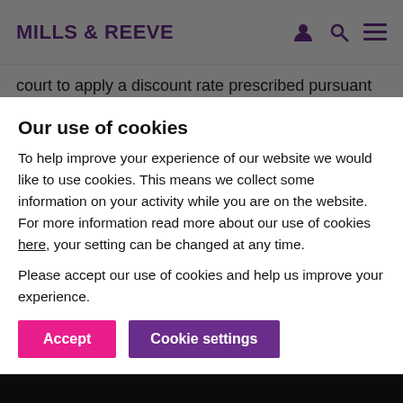MILLS & REEVE
court to apply a discount rate prescribed pursuant to the Act, save in exceptional circumstances. No cases have ever sustained an argument for exceptional circumstances since the Act came into force (though one did at first instance, only to be overturned on appeal – Warriner v Warriner [2002] 1
Our use of cookies
To help improve your experience of our website we would like to use cookies. This means we collect some information on your activity while you are on the website. For more information read more about our use of cookies here, your setting can be changed at any time.
Please accept our use of cookies and help us improve your experience.
Accept   Cookie settings
0344 880 2666